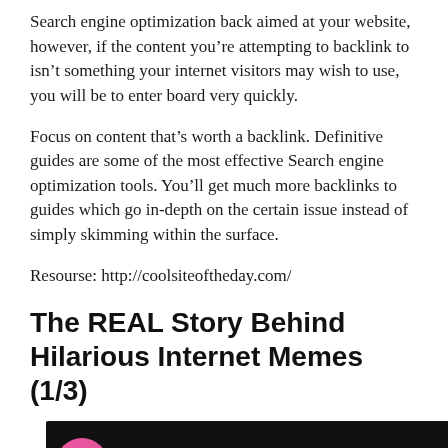Search engine optimization back aimed at your website, however, if the content you're attempting to backlink to isn't something your internet visitors may wish to use, you will be to enter board very quickly.
Focus on content that's worth a backlink. Definitive guides are some of the most effective Search engine optimization tools. You'll get much more backlinks to guides which go in-depth on the certain issue instead of simply skimming within the surface.
Resourse: http://coolsiteoftheday.com/
The REAL Story Behind Hilarious Internet Memes (1/3)
[Figure (screenshot): Video player thumbnail showing a pink circle logo with 'tt' text, text reading 'Discover The Stories Behind The ...', vertical dots menu icon, and a navigation arrow button. Dark background with scrollbar on the right.]